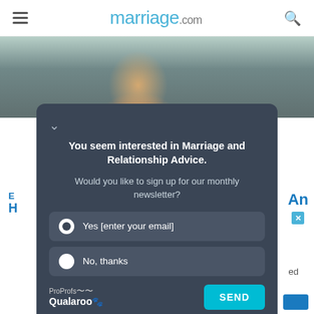marriage.com
[Figure (photo): Close-up photo of a couple's faces, man in foreground with brown hair and green eyes, woman partially visible on right side with dark hair]
You seem interested in Marriage and Relationship Advice.

Would you like to sign up for our monthly newsletter?
Yes [enter your email]
No, thanks
ProProfs Qualaroo  SEND